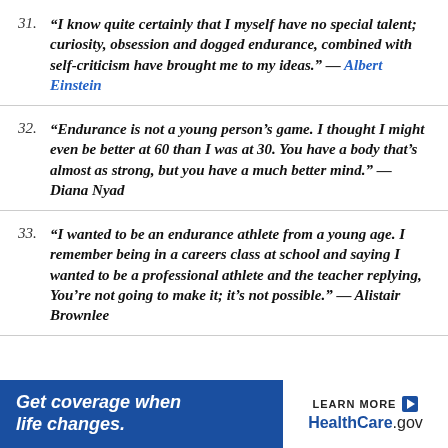31. “I know quite certainly that I myself have no special talent; curiosity, obsession and dogged endurance, combined with self-criticism have brought me to my ideas.” — Albert Einstein
32. “Endurance is not a young person’s game. I thought I might even be better at 60 than I was at 30. You have a body that’s almost as strong, but you have a much better mind.” — Diana Nyad
33. “I wanted to be an endurance athlete from a young age. I remember being in a careers class at school and saying I wanted to be a professional athlete and the teacher replying, You’re not going to make it; it’s not possible.” — Alistair Brownlee
[Figure (infographic): Advertisement banner for HealthCare.gov with text 'Get coverage when life changes.' and 'LEARN MORE HealthCare.gov']